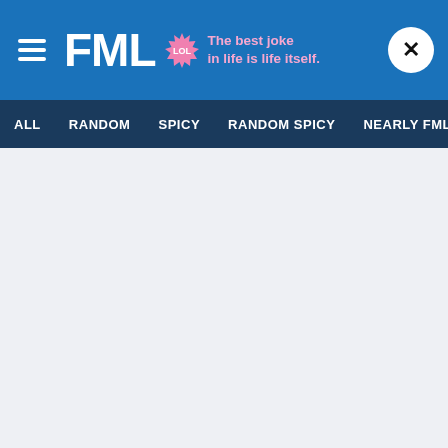FML — The best joke in life is life itself.
ALL  RANDOM  SPICY  RANDOM SPICY  NEARLY FML
FML - The Follow-Up